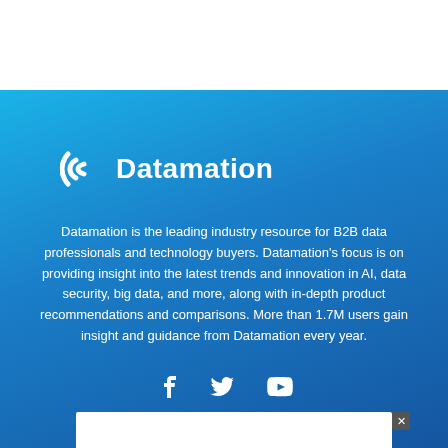[Figure (logo): Datamation logo with stylized D icon and wordmark in white on blue gradient background]
Datamation is the leading industry resource for B2B data professionals and technology buyers. Datamation's focus is on providing insight into the latest trends and innovation in AI, data security, big data, and more, along with in-depth product recommendations and comparisons. More than 1.7M users gain insight and guidance from Datamation every year.
[Figure (illustration): Social media icons: Facebook, Twitter, YouTube in white]